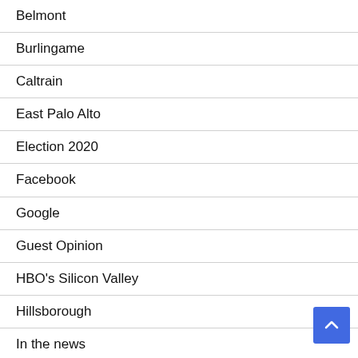Belmont
Burlingame
Caltrain
East Palo Alto
Election 2020
Facebook
Google
Guest Opinion
HBO's Silicon Valley
Hillsborough
In the news
Los Altos
Los Altos Hills
Menlo Park